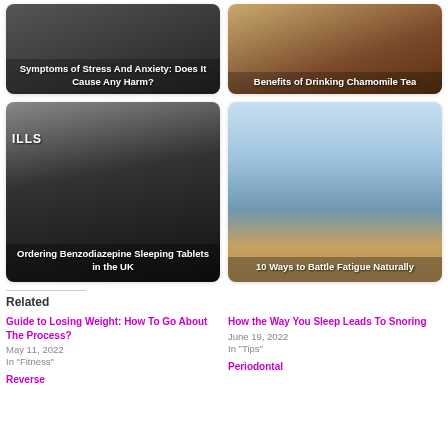[Figure (photo): Dark-toned card with text overlay: 'Symptoms of Stress And Anxiety: Does It Cause Any Harm?']
[Figure (photo): Tea-toned card with text overlay: 'Benefits of Drinking Chamomile Tea']
[Figure (photo): Dark card with pills label 'ILLS' and text overlay: 'Ordering Benzodiazepine Sleeping Tablets in the UK']
[Figure (photo): Mountain/outdoor scene card with text overlay: '10 Ways to Battle Fatigue Naturally']
Related
Guide to Losing Weight: How To Go About The Process?
May 11, 2022
In "Fitness"
How the Way You Sleep Leads To Snoring
June 19, 2022
In "Tips"
Reverse
Periodontal